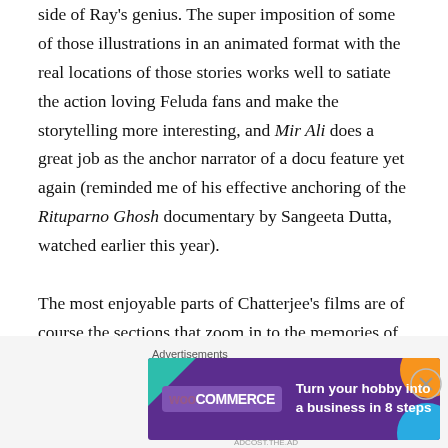Feluda books to explore the relatively lesser discussed side of Ray's genius. The super imposition of some of those illustrations in an animated format with the real locations of those stories works well to satiate the action loving Feluda fans and make the storytelling more interesting, and Mir Ali does a great job as the anchor narrator of a docu feature yet again (reminded me of his effective anchoring of the Rituparno Ghosh documentary by Sangeeta Dutta, watched earlier this year).

The most enjoyable parts of Chatterjee's films are of course the sections that zoom in to the memories of making the two Feluda films that Ray directed himself. The audience is heard repeating all the iconic lines of Feluda
Advertisements
[Figure (other): WooCommerce advertisement banner with purple background: 'Turn your hobby into a business in 8 steps' with decorative teal, orange, and blue shapes in the corners.]